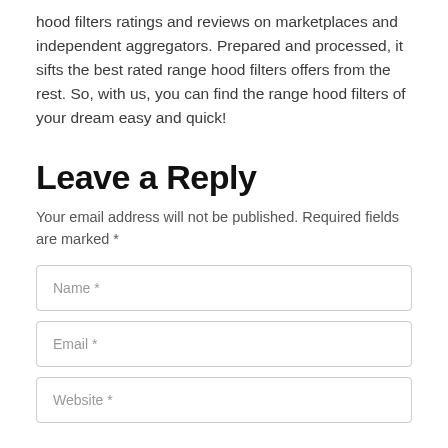hood filters ratings and reviews on marketplaces and independent aggregators. Prepared and processed, it sifts the best rated range hood filters offers from the rest. So, with us, you can find the range hood filters of your dream easy and quick!
Leave a Reply
Your email address will not be published. Required fields are marked *
Name *
Email *
Website *